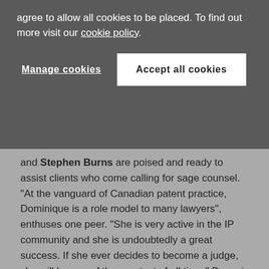agree to allow all cookies to be placed. To find out more visit our cookie policy.
Manage cookies
Accept all cookies
and Stephen Burns are poised and ready to assist clients who come calling for sage counsel. “At the vanguard of Canadian patent practice, Dominique is a role model to many lawyers”, enthuses one peer. “She is very active in the IP community and she is undoubtedly a great success. If she ever decides to become a judge, she will be one of the greatest of all time.” Burns is a technology transfer guru who spends much of his time bringing IP-related transactions in the energy sector to a swift and successful close. By his side, Michael Whitt QC has an aptitude for all